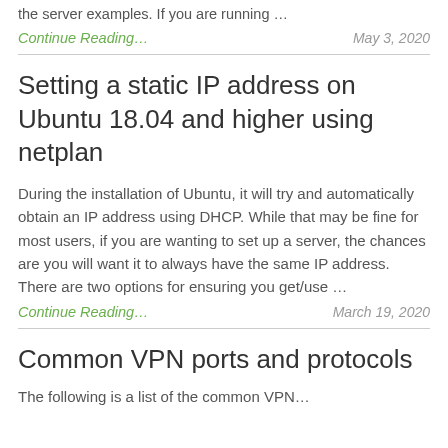the server examples. If you are running …
Continue Reading…
May 3, 2020
Setting a static IP address on Ubuntu 18.04 and higher using netplan
During the installation of Ubuntu, it will try and automatically obtain an IP address using DHCP. While that may be fine for most users, if you are wanting to set up a server, the chances are you will want it to always have the same IP address. There are two options for ensuring you get/use …
Continue Reading…
March 19, 2020
Common VPN ports and protocols
The following is a list of the common VPN…